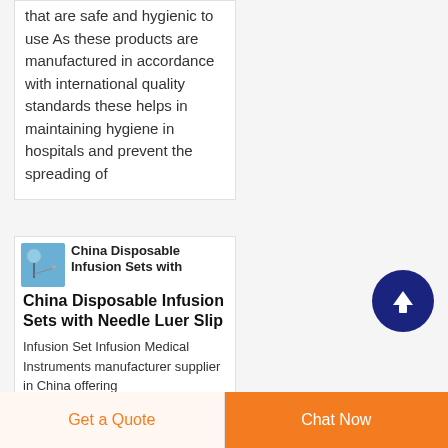that are safe and hygienic to use As these products are manufactured in accordance with international quality standards these helps in maintaining hygiene in hospitals and prevent the spreading of
[Figure (photo): Small thumbnail image of a disposable infusion set with blue/teal background]
China Disposable Infusion Sets with Needle Luer Slip
Infusion Set Infusion Medical Instruments manufacturer supplier in China offering
Get a Quote
Chat Now